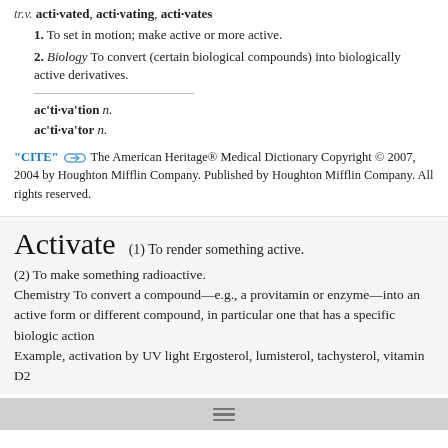tr.v. acti·vated, acti·vating, acti·vates
1. To set in motion; make active or more active.
2. Biology To convert (certain biological compounds) into biologically active derivatives.
ac'ti·va'tion n.
ac'ti·va'tor n.
"CITE" [link icon] The American Heritage® Medical Dictionary Copyright © 2007, 2004 by Houghton Mifflin Company. Published by Houghton Mifflin Company. All rights reserved.
Activate
(1) To render something active.
(2) To make something radioactive.
Chemistry To convert a compound—e.g., a provitamin or enzyme—into an active form or different compound, in particular one that has a specific biologic action
Example, activation by UV light Ergosterol, lumisterol, tachysterol, vitamin D2